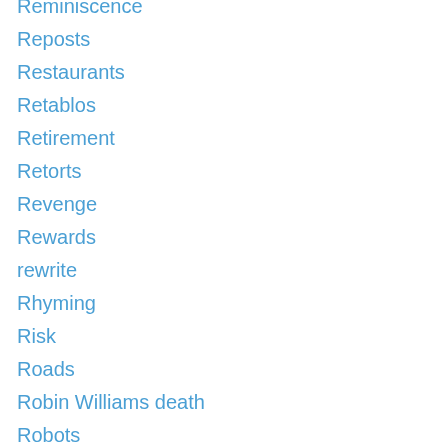Reminiscence
Reposts
Restaurants
Retablos
Retirement
Retorts
Revenge
Rewards
rewrite
Rhyming
Risk
Roads
Robin Williams death
Robots
Royal Family
Royalty
rubái
Rum
Sad Poems
Safari